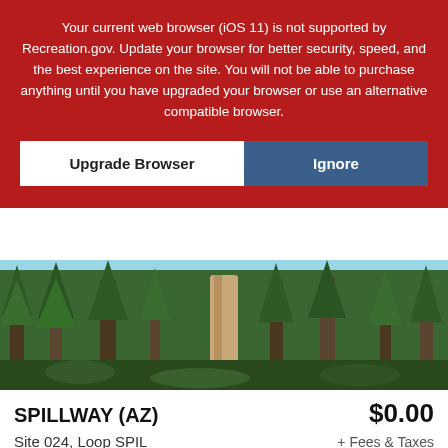Your current web browser (iOS 11) is not supported by Recreation.gov. Update your browser for better security, speed, and the best experience on the site. You will not be able to purchase anything until you have upgraded your browser or use an alternative compatible browser.
[Figure (screenshot): Two buttons: 'Upgrade Browser' (white background) and 'Ignore' (blue background) on red banner]
[Figure (photo): Forest scene with tall pine trees and blue sky]
SPILLWAY (AZ)
$0.00
Site 024, Loop SPIL
+ Fees & Taxes
Enter Dates